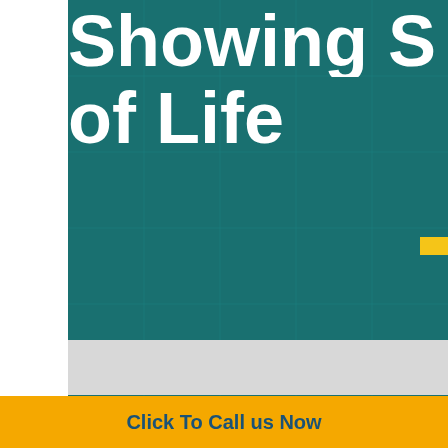[Figure (illustration): Book cover showing partial title text 'Showing Signs of Life' in large white bold font on a teal grid background, with a yellow accent bar, a gray band separator, and 'Merchandise Trade' with 'Principal Trading Partners' text below.]
Showing Signs of Life
Merchandise Trade
Principal Trading Partners
Click To Call us Now